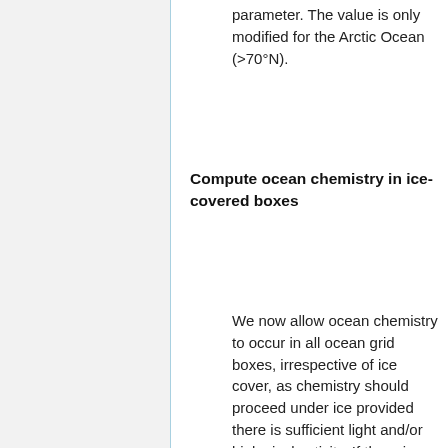parameter. The value is only modified for the Arctic Ocean (>70°N).
Compute ocean chemistry in ice-covered boxes
We now allow ocean chemistry to occur in all ocean grid boxes, irrespective of ice cover, as chemistry should proceed under ice provided there is sufficient light and/or biological activity. If there is partial ice cover, both solar radiation and atmospheric deposition to the ocean are reduced accordingly. This change relies on